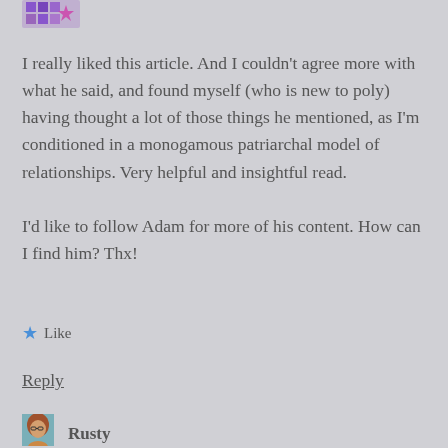[Figure (illustration): Purple geometric/pixel avatar icon at top left]
I really liked this article. And I couldn't agree more with what he said, and found myself (who is new to poly) having thought a lot of those things he mentioned, as I'm conditioned in a monogamous patriarchal model of relationships. Very helpful and insightful read.

I'd like to follow Adam for more of his content. How can I find him? Thx!
★ Like
Reply
[Figure (photo): Small photo of a woman with red/brown hair and glasses]
Rusty